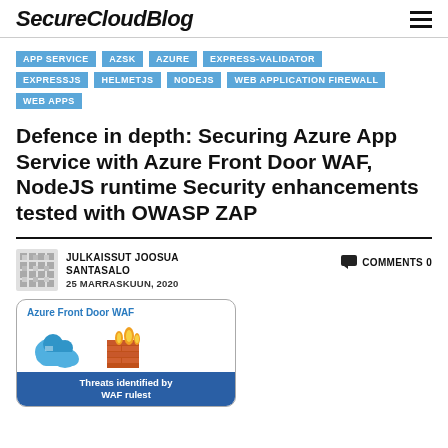SecureCloudBlog
APP SERVICE
AZSK
AZURE
EXPRESS-VALIDATOR
EXPRESSJS
HELMETJS
NODEJS
WEB APPLICATION FIREWALL
WEB APPS
Defence in depth: Securing Azure App Service with Azure Front Door WAF, NodeJS runtime Security enhancements tested with OWASP ZAP
JULKAISSUT JOOSUA SANTASALO
25 MARRASKUUN, 2020
COMMENTS 0
[Figure (illustration): Azure Front Door WAF card showing Azure cloud icon and firewall icon, with blue banner reading 'Threats identified by WAF rulest']